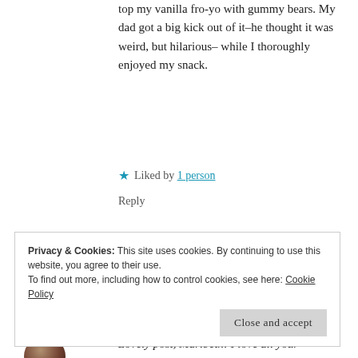top my vanilla fro-yo with gummy bears. My dad got a big kick out of it–he thought it was weird, but hilarious–while I thoroughly enjoyed my snack.
★ Liked by 1 person
Reply
[Figure (photo): Circular avatar photo of Hanne T, a person with long dark hair]
Hanne T says:
January 16, 2020 at 5:23 pm
Haha that's awesome!!!
Privacy & Cookies: This site uses cookies. By continuing to use this website, you agree to their use.
To find out more, including how to control cookies, see here: Cookie Policy
Close and accept
Lovely post, Maribeth! I love all your